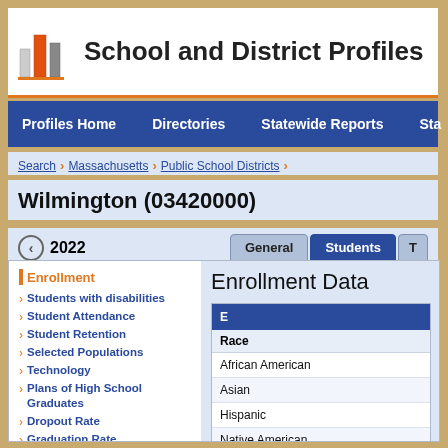School and District Profiles
Profiles Home | Directories | Statewide Reports | Sta
Search > Massachusetts > Public School Districts >
Wilmington (03420000)
2022
General | Students | T
Enrollment
Students with disabilities
Student Attendance
Student Retention
Selected Populations
Technology
Plans of High School Graduates
Dropout Rate
Graduation Rate
Mobility Rate
MassCore Completion
Attrition Rates
Class Size by Gender and Selected
Enrollment Data
| Race | E |
| --- | --- |
| African American |  |
| Asian |  |
| Hispanic |  |
| Native American |  |